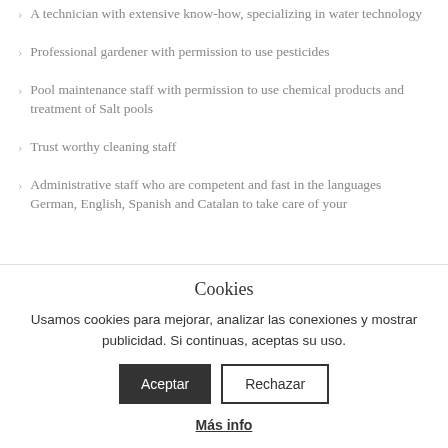A technician with extensive know-how, specializing in water technology
Professional gardener with permission to use pesticides
Pool maintenance staff with permission to use chemical products and treatment of Salt pools
Trust worthy cleaning staff
Administrative staff who are competent and fast in the languages German, English, Spanish and Catalan to take care of your
Cookies
Usamos cookies para mejorar, analizar las conexiones y mostrar publicidad. Si continuas, aceptas su uso.
Aceptar | Rechazar
Más info